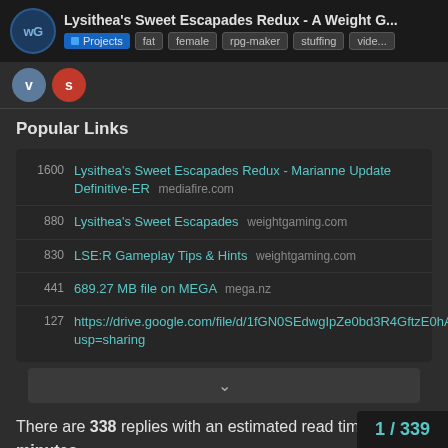Lysithea's Sweet Escapades Redux - A Weight G...
Tags: Projects, fat, female, rpg-maker, stuffing, vide...
Popular Links
1600 - Lysithea's Sweet Escapades Redux - Marianne Update Definitive-ER mediafire.com
880 - Lysithea's Sweet Escapades weightgaming.com
830 - LSE:R Gameplay Tips & Hints weightgaming.com
441 - 689.27 MB file on MEGA mega.nz
127 - https://drive.google.com/file/d/1fGN0SEdwgIpZe0bd3R4GftzE0hAqPhDx/view?usp=sharing
There are 338 replies with an estimated read time of 41 minutes.
Summarize This Topic
1 / 339